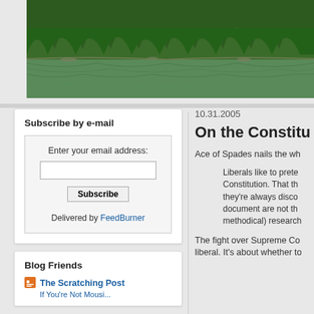[Figure (photo): Forest landscape with green trees reflected in a lake or river, nature scene viewed from slightly elevated angle]
Subscribe by e-mail
Enter your email address:
Delivered by FeedBurner
Blog Friends
The Scratching Post
10.31.2005
On the Constitu
Ace of Spades nails the wh
Liberals like to prete Constitution. That th they're always disco document are not th methodical) research
The fight over Supreme Co liberal. It's about whether to